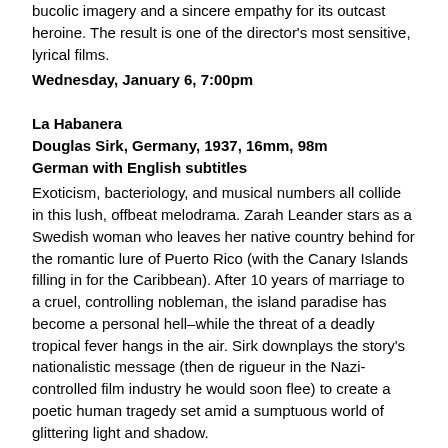bucolic imagery and a sincere empathy for its outcast heroine. The result is one of the director's most sensitive, lyrical films.
Wednesday, January 6, 7:00pm
La Habanera
Douglas Sirk, Germany, 1937, 16mm, 98m
German with English subtitles
Exoticism, bacteriology, and musical numbers all collide in this lush, offbeat melodrama. Zarah Leander stars as a Swedish woman who leaves her native country behind for the romantic lure of Puerto Rico (with the Canary Islands filling in for the Caribbean). After 10 years of marriage to a cruel, controlling nobleman, the island paradise has become a personal hell–while the threat of a deadly tropical fever hangs in the air. Sirk downplays the story's nationalistic message (then de rigueur in the Nazi-controlled film industry he would soon flee) to create a poetic human tragedy set amid a sumptuous world of glittering light and shadow.